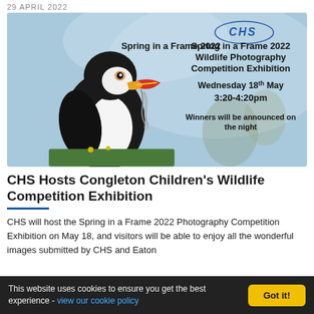29 APRIL 2022
[Figure (photo): Event poster for Spring in a Frame 2022 Wildlife Photography Competition Exhibition, featuring a puffin bird with fish in its beak against a blue sky background. Text on poster reads: Spring in a Frame 2022 Wildlife Photography Competition Exhibition, Wednesday 18th May 3:20-4:20pm, Winners will be announced on the night. CHS logo in top right corner.]
CHS Hosts Congleton Children's Wildlife Competition Exhibition
CHS will host the Spring in a Frame 2022 Photography Competition Exhibition on May 18, and visitors will be able to enjoy all the wonderful images submitted by CHS and Eaton